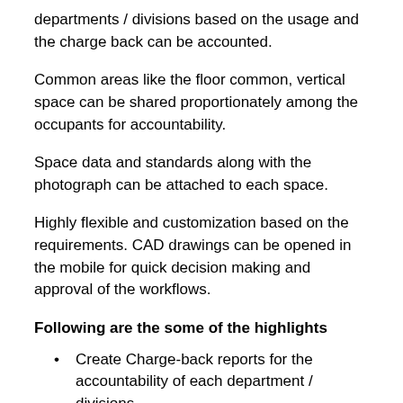departments / divisions based on the usage and the charge back can be accounted.
Common areas like the floor common, vertical space can be shared proportionately among the occupants for accountability.
Space data and standards along with the photograph can be attached to each space.
Highly flexible and customization based on the requirements. CAD drawings can be opened in the mobile for quick decision making and approval of the workflows.
Following are the some of the highlights
Create Charge-back reports for the accountability of each department / divisions